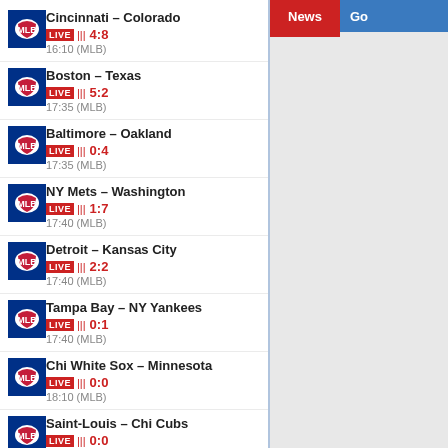Cincinnati – Colorado LIVE 4:8 16:10 (MLB)
Boston – Texas LIVE 5:2 17:35 (MLB)
Baltimore – Oakland LIVE 0:4 17:35 (MLB)
NY Mets – Washington LIVE 1:7 17:40 (MLB)
Detroit – Kansas City LIVE 2:2 17:40 (MLB)
Tampa Bay – NY Yankees LIVE 0:1 17:40 (MLB)
Chi White Sox – Minnesota LIVE 0:0 18:10 (MLB)
Saint-Louis – Chi Cubs LIVE 0:0 18:15 (MLB)
Atletico Platense – Estudiantes LP LIVE 0:0 18:30 (Argentina. Liga Profesional)
Cleveland – Seattle LIVE 1:1 18:40 (MLB)
Udinese – Roma
News Go